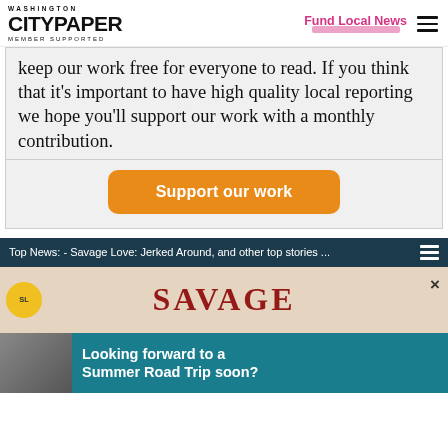[Figure (logo): Washington City Paper logo with 'MEMBER SUPPORTED' text below]
Fund Local News
keep our work free for everyone to read. If you think that it's important to have high quality local reporting we hope you'll support our work with a monthly contribution.
Support our work
Top News: - Savage Love: Jerked Around, and other top stories ...
[Figure (illustration): Savage Love article illustration with circular badge and 'SAVAGE' text]
[Figure (photo): Advertisement banner: Looking forward to a Summer Road Trip soon? with family photo]
Looking forward to a Summer Road Trip soon?